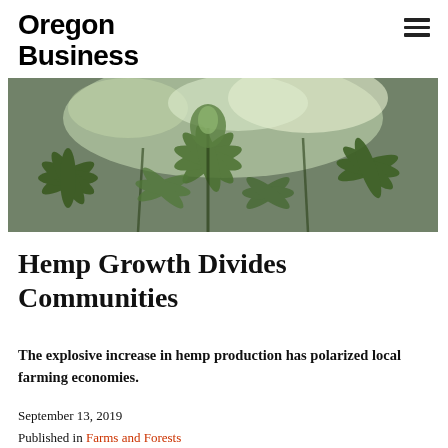Oregon Business
[Figure (photo): Close-up photograph of hemp/cannabis plants with bright green leaves and buds against a bright sky background]
Hemp Growth Divides Communities
The explosive increase in hemp production has polarized local farming economies.
September 13, 2019
Published in Farms and Forests